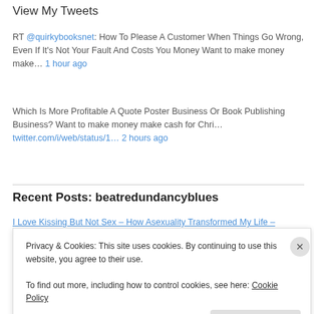View My Tweets
RT @quirkybooksnet: How To Please A Customer When Things Go Wrong, Even If It's Not Your Fault And Costs You Money Want to make money make… 1 hour ago
Which Is More Profitable A Quote Poster Business Or Book Publishing Business? Want to make money make cash for Chri… twitter.com/i/web/status/1… 2 hours ago
Recent Posts: beatredundancyblues
I Love Kissing But Not Sex – How Asexuality Transformed My Life –
Privacy & Cookies: This site uses cookies. By continuing to use this website, you agree to their use.
To find out more, including how to control cookies, see here: Cookie Policy